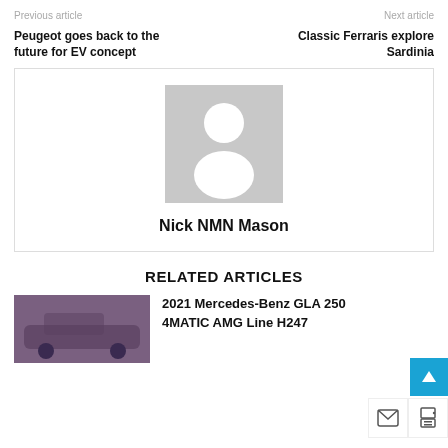Previous article | Next article
Peugeot goes back to the future for EV concept
Classic Ferraris explore Sardinia
[Figure (illustration): Author avatar placeholder: grey rectangle with white silhouette of a person (head and shoulders)]
Nick NMN Mason
RELATED ARTICLES
[Figure (photo): Thumbnail image of a car (appears purple/dark, partially visible Mercedes-Benz GLA)]
2021 Mercedes-Benz GLA 250 4MATIC AMG Line H247